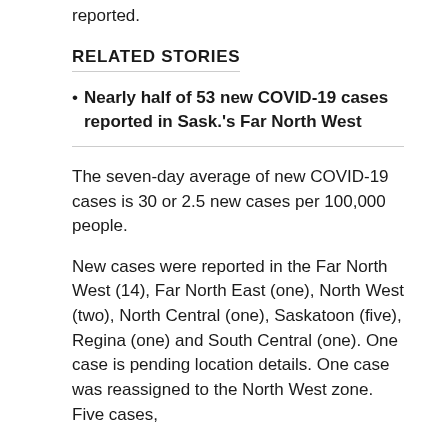were no new deaths related to the virus reported.
RELATED STORIES
Nearly half of 53 new COVID-19 cases reported in Sask.'s Far North West
The seven-day average of new COVID-19 cases is 30 or 2.5 new cases per 100,000 people.
New cases were reported in the Far North West (14), Far North East (one), North West (two), North Central (one), Saskatoon (five), Regina (one) and South Central (one). One case is pending location details. One case was reassigned to the North West zone. Five cases,